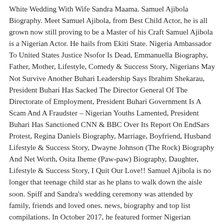White Wedding With Wife Sandra Maama. Samuel Ajibola Biography. Meet Samuel Ajibola, from Best Child Actor, he is all grown now still proving to be a Master of his Craft Samuel Ajibola is a Nigerian Actor. He hails from Ekiti State. Nigeria Ambassador To United States Justice Nsofor Is Dead, Emmanuella Biography, Father, Mother, Lifestyle, Comedy & Success Story, Nigerians May Not Survive Another Buhari Leadership Says Ibrahim Shekarau, President Buhari Has Sacked The Director General Of The Directorate of Employment, President Buhari Government Is A Scam And A Fraudster – Nigerian Youths Lamented, President Buhari Has Sanctioned CNN & BBC Over Its Report On EndSars Protest, Regina Daniels Biography, Marriage, Boyfriend, Husband Lifestyle & Success Story, Dwayne Johnson (The Rock) Biography And Net Worth, Osita Iheme (Paw-paw) Biography, Daughter, Lifestyle & Success Story, I Quit Our Love!! Samuel Ajibola is no longer that teenage child star as he plans to walk down the aisle soon. Spiff and Sandra's wedding ceremony was attended by family, friends and loved ones. news, biography and top list compilations. In October 2017, he featured former Nigerian President Olusegun Obasanjo on the web series. Nollywood actor, Samuel Ajibola gained modest notoriety when he played the role of Spiff in the popular television series, The Johnsons. He is also very popular on social media with over half a million followers on his official Instagram